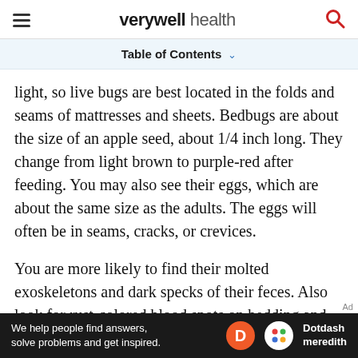verywell health
Table of Contents
light, so live bugs are best located in the folds and seams of mattresses and sheets. Bedbugs are about the size of an apple seed, about 1/4 inch long. They change from light brown to purple-red after feeding. You may also see their eggs, which are about the same size as the adults. The eggs will often be in seams, cracks, or crevices.
You are more likely to find their molted exoskeletons and dark specks of their feces. Also look for rust-colored blood spots on bedding and mattresses, which can come from the blood in their feces or from having crushed a bedbug who
[Figure (other): Dotdash Meredith advertisement banner: 'We help people find answers, solve problems and get inspired.']